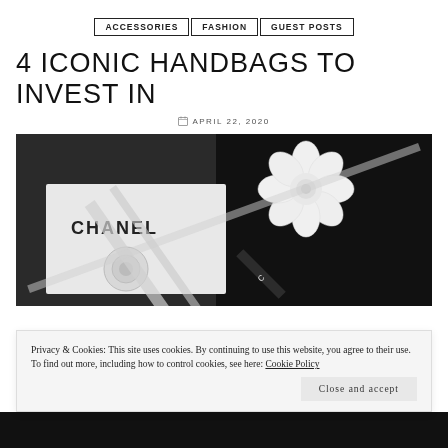ACCESSORIES | FASHION | GUEST POSTS
4 ICONIC HANDBAGS TO INVEST IN
APRIL 22, 2020
[Figure (photo): Chanel branded box with white camellia flower and ribbon on dark background]
Privacy & Cookies: This site uses cookies. By continuing to use this website, you agree to their use.
To find out more, including how to control cookies, see here: Cookie Policy
Close and accept